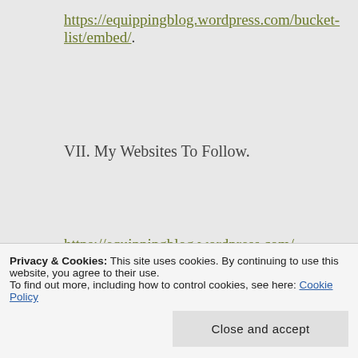https://equippingblog.wordpress.com/bucket-list/embed/.
VII. My Websites To Follow.
https://equippingblog.wordpress.com/ Eternity
https://untotheleastofthese.home.blog/ Equippi
Privacy & Cookies: This site uses cookies. By continuing to use this website, you agree to their use.
To find out more, including how to control cookies, see here: Cookie Policy
https://success2693.wordpress.com/ Israel.